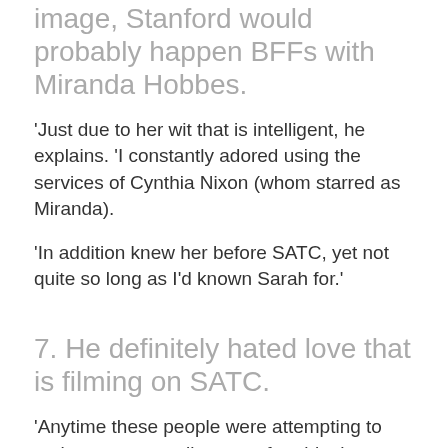image, Stanford would probably happen BFFs with Miranda Hobbes.
'Just due to her wit that is intelligent, he explains. 'I constantly adored using the services of Cynthia Nixon (whom starred as Miranda).
'In addition knew her before SATC, yet not quite so long as I'd known Sarah for.'
7. He definitely hated love that is filming on SATC.
'Anytime these people were attempting to make me personally uncomfortable they succeeded,' he jokes. 'And they might all attempt to top it, so that the underwear celebration from period two as well as the dolls regarding the sleep from season three.